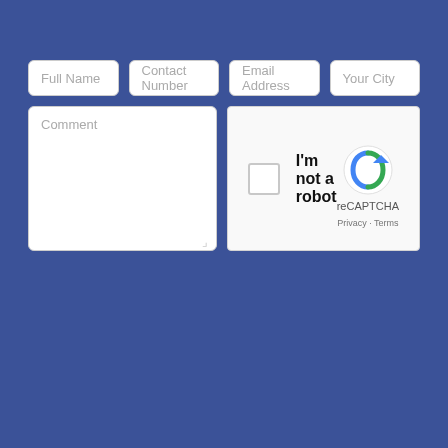[Figure (screenshot): Web contact form on a dark blue background with input fields: Full Name, Contact Number, Email Address, Your City, a Comment textarea, and a reCAPTCHA widget with checkbox labeled I'm not a robot]
Full Name
Contact Number
Email Address
Your City
Comment
I'm not a robot
reCAPTCHA
Privacy · Terms